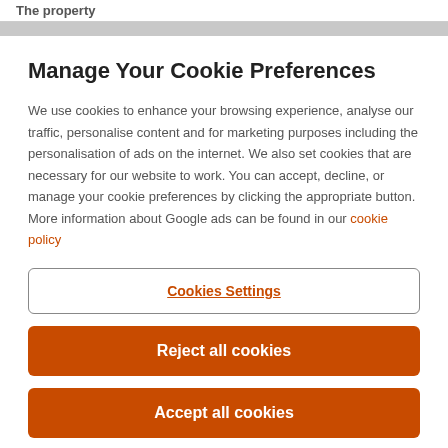The property
Manage Your Cookie Preferences
We use cookies to enhance your browsing experience, analyse our traffic, personalise content and for marketing purposes including the personalisation of ads on the internet. We also set cookies that are necessary for our website to work. You can accept, decline, or manage your cookie preferences by clicking the appropriate button. More information about Google ads can be found in our cookie policy
Cookies Settings
Reject all cookies
Accept all cookies